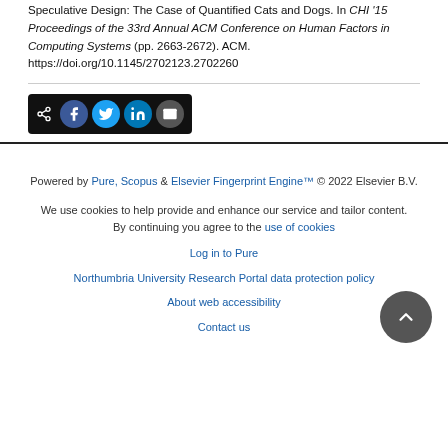Speculative Design: The Case of Quantified Cats and Dogs. In CHI '15 Proceedings of the 33rd Annual ACM Conference on Human Factors in Computing Systems (pp. 2663-2672). ACM. https://doi.org/10.1145/2702123.2702260
[Figure (other): Social share bar with icons for Facebook, Twitter, LinkedIn, and Email on dark background]
Powered by Pure, Scopus & Elsevier Fingerprint Engine™ © 2022 Elsevier B.V.
We use cookies to help provide and enhance our service and tailor content. By continuing you agree to the use of cookies
Log in to Pure
Northumbria University Research Portal data protection policy
About web accessibility
Contact us